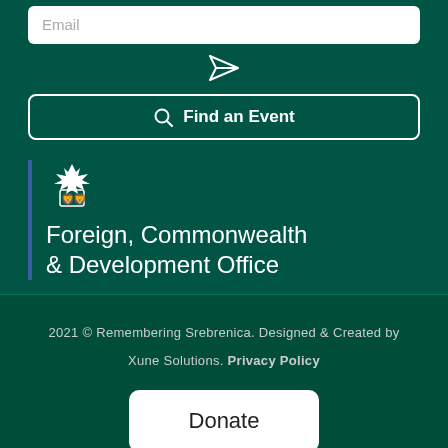Email
[Figure (illustration): Send/paper plane icon]
Find an Event
[Figure (logo): UK Government crest logo for Foreign, Commonwealth & Development Office]
Foreign, Commonwealth & Development Office
2021 © Remembering Srebrenica. Designed & Created by Xune Solutions. Privacy Policy
Donate